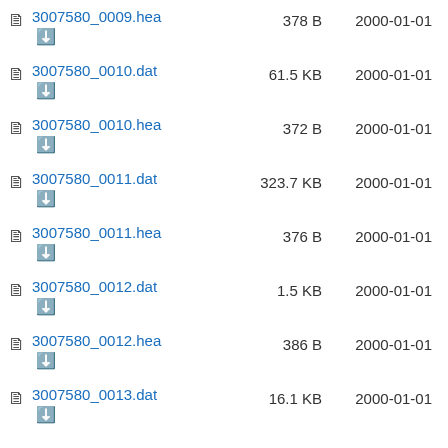3007580_0009.hea  378 B  2000-01-01
3007580_0010.dat  61.5 KB  2000-01-01
3007580_0010.hea  372 B  2000-01-01
3007580_0011.dat  323.7 KB  2000-01-01
3007580_0011.hea  376 B  2000-01-01
3007580_0012.dat  1.5 KB  2000-01-01
3007580_0012.hea  386 B  2000-01-01
3007580_0013.dat  16.1 KB  2000-01-01